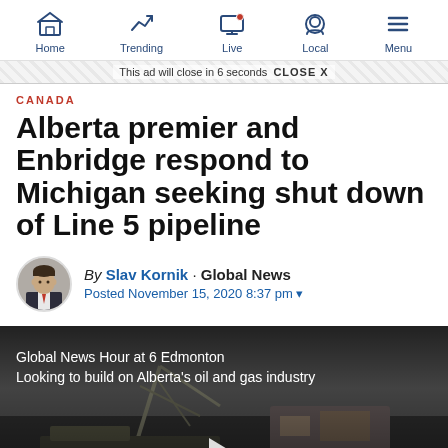Home | Trending | Live | Local | Menu
This ad will close in 6 seconds  CLOSE X
CANADA
Alberta premier and Enbridge respond to Michigan seeking shut down of Line 5 pipeline
By Slav Kornik · Global News
Posted November 15, 2020 8:37 pm
[Figure (screenshot): Video thumbnail showing industrial equipment/pipeline machinery with text overlay: Global News Hour at 6 Edmonton – Looking to build on Alberta's oil and gas industry. Dark background with play button.]